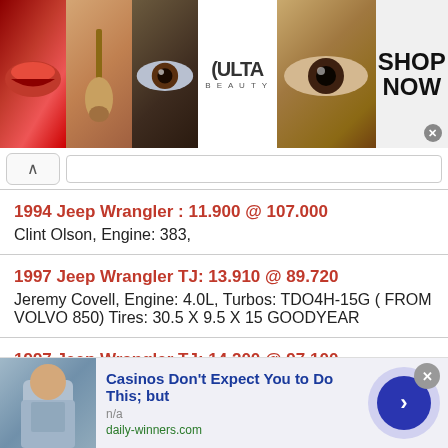[Figure (photo): Advertisement banner for Ulta Beauty showing makeup images (lips, brush, eye) and ULTA logo with SHOP NOW button]
1994 Jeep Wrangler : 11.900 @ 107.000
Clint Olson, Engine: 383,
1997 Jeep Wrangler TJ: 13.910 @ 89.720
Jeremy Covell, Engine: 4.0L, Turbos: TDO4H-15G ( FROM VOLVO 850) Tires: 30.5 X 9.5 X 15 GOODYEAR
1997 Jeep Wrangler TJ: 14.200 @ 97.100
Vince, Engine: 4.0 242 ci, Supercharger: no Turbos: no Tires: stock at track 32
[Figure (screenshot): Bottom advertisement: Casinos Don't Expect You to Do This; but — n/a — daily-winners.com, with photo of man and arrow navigation button]